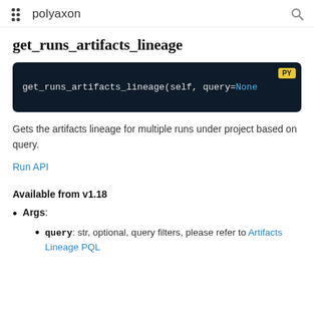polyaxon
get_runs_artifacts_lineage
[Figure (screenshot): Code block showing: get_runs_artifacts_lineage(self, query=None with PY badge]
Gets the artifacts lineage for multiple runs under project based on query.
Run API
Available from v1.18
Args:
query: str, optional, query filters, please refer to Artifacts Lineage PQL